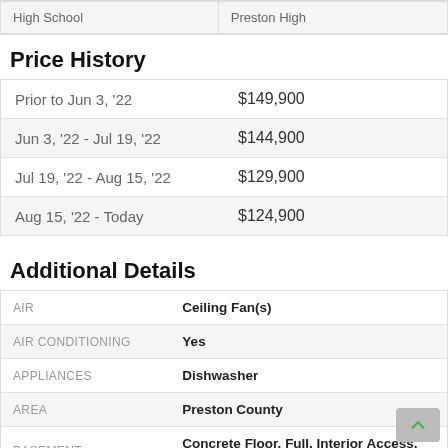| Date Range | Price |
| --- | --- |
| High School | Preston High |
Price History
| Date Range | Price |
| --- | --- |
| Prior to Jun 3, '22 | $149,900 |
| Jun 3, '22 - Jul 19, '22 | $144,900 |
| Jul 19, '22 - Aug 15, '22 | $129,900 |
| Aug 15, '22 - Today | $124,900 |
Additional Details
| Field | Value |
| --- | --- |
| AIR | Ceiling Fan(s) |
| AIR CONDITIONING | Yes |
| APPLIANCES | Dishwasher |
| AREA | Preston County |
| BASEMENT | Concrete Floor, Full, Interior Access, Unfinished, Walk-Out, Yes |
| EXTERIOR | Deck, Storage Shed/Outbuilding |
| GARAGE | 1 Car, Yes |
| HEAT | None |